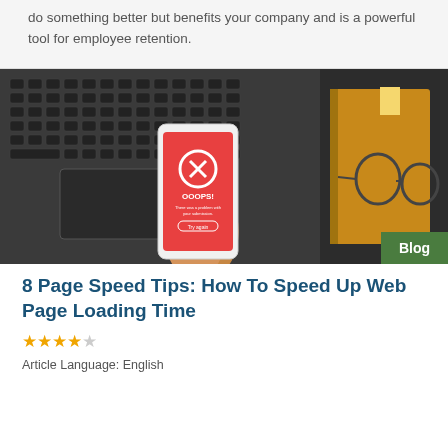do something better but benefits your company and is a powerful tool for employee retention.
[Figure (photo): Overhead photo of a hand holding a smartphone showing a red error screen with an X icon and 'OOOPS!' text, next to a laptop keyboard and a book with glasses on a dark desk.]
Blog
8 Page Speed Tips: How To Speed Up Web Page Loading Time
★★★★☆
Article Language: English